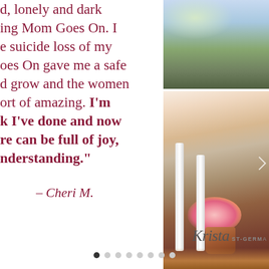d, lonely and dark ing Mom Goes On. I e suicide loss of my oes On gave me a safe d grow and the women ort of amazing. I'm k I've done and now re can be full of joy, nderstanding."
– Cheri M.
[Figure (photo): Outdoor autumn scene with trees and building in background, top right]
[Figure (photo): Autumn porch scene with white railing pillars, flower pot with pink flowers, fallen leaves on ground]
[Figure (logo): Krista St-Germain signature/logo in script and small caps]